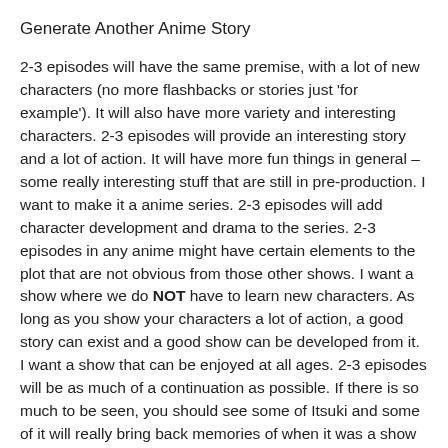Generate Another Anime Story
2-3 episodes will have the same premise, with a lot of new characters (no more flashbacks or stories just 'for example'). It will also have more variety and interesting characters. 2-3 episodes will provide an interesting story and a lot of action. It will have more fun things in general – some really interesting stuff that are still in pre-production. I want to make it a anime series. 2-3 episodes will add character development and drama to the series. 2-3 episodes in any anime might have certain elements to the plot that are not obvious from those other shows. I want a show where we do NOT have to learn new characters. As long as you show your characters a lot of action, a good story can exist and a good show can be developed from it. I want a show that can be enjoyed at all ages. 2-3 episodes will be as much of a continuation as possible. If there is so much to be seen, you should see some of Itsuki and some of it will really bring back memories of when it was a show